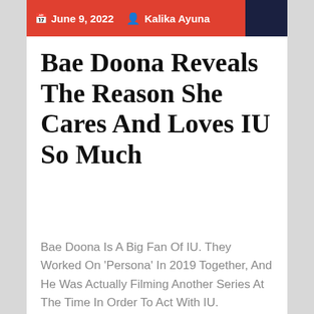June 9, 2022  Kalika Ayuna
Bae Doona Reveals The Reason She Cares And Loves IU So Much
Bae Doona Is A Big Fan Of IU. They Worked On 'Persona' In 2019 Together, And He Was Actually Filming Another Series At The Time In Order To Act With IU.